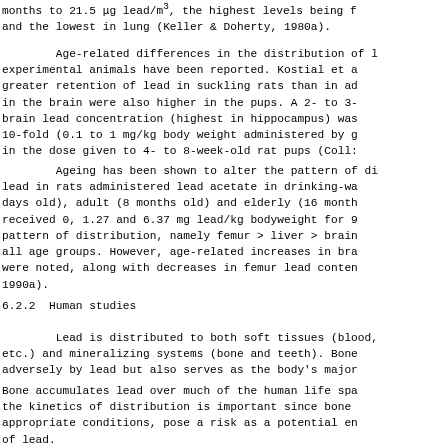months to 21.5 μg lead/m³, the highest levels being f
and the lowest in lung (Keller & Doherty, 1980a).
Age-related differences in the distribution of l
experimental animals have been reported. Kostial et a
greater retention of lead in suckling rats than in ad
in the brain were also higher in the pups. A 2- to 3-
brain lead concentration (highest in hippocampus) was
10-fold (0.1 to 1 mg/kg body weight administered by g
in the dose given to 4- to 8-week-old rat pups (Coll:
Ageing has been shown to alter the pattern of di
lead in rats administered lead acetate in drinking-wa
days old), adult (8 months old) and elderly (16 month
received 0, 1.27 and 6.37 mg lead/kg bodyweight for 9
pattern of distribution, namely femur > liver > brain
all age groups. However, age-related increases in bra
were noted, along with decreases in femur lead conten
1990a).
6.2.2  Human studies
Lead is distributed to both soft tissues (blood,
etc.) and mineralizing systems (bone and teeth). Bone
adversely by lead but also serves as the body's major
Bone accumulates lead over much of the human life spa
the kinetics of distribution is important since bone
appropriate conditions, pose a risk as a potential en
of lead.